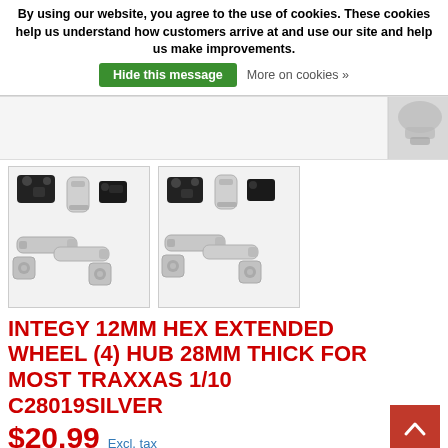By using our website, you agree to the use of cookies. These cookies help us understand how customers arrive at and use our site and help us make improvements. Hide this message  More on cookies »
[Figure (photo): Partially visible product image strip at top with silver metal wheel hub parts visible in top-right corner]
[Figure (photo): First thumbnail: silver/chrome RC car 12mm hex extended wheel hub parts including knuckle and axle shafts laid out on white background]
[Figure (photo): Second thumbnail: similar silver/chrome RC car 12mm hex extended wheel hub parts from a slightly different angle]
INTEGY 12MM HEX EXTENDED WHEEL (4) HUB 28MM THICK FOR MOST TRAXXAS 1/10 C28019SILVER
$20.99  Excl. tax